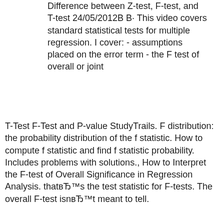Difference between Z-test, F-test, and T-test 24/05/2012В В· This video covers standard statistical tests for multiple regression. I cover: - assumptions placed on the error term - the F test of overall or joint
T-Test F-Test and P-value StudyTrails. F distribution: the probability distribution of the f statistic. How to compute f statistic and find f statistic probability. Includes problems with solutions., How to Interpret the F-test of Overall Significance in Regression Analysis. thatвЂ™s the test statistic for F-tests. The overall F-test isnвЂ™t meant to tell.